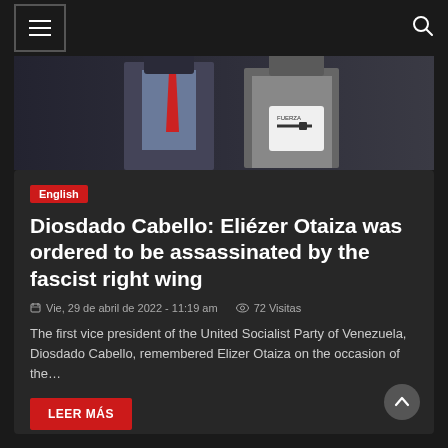☰  [navigation menu] [search icon]
[Figure (photo): Two people at an event — one wearing a suit with a red tie, another in a grey jacket holding a book or document with a gun graphic on the cover.]
English
Diosdado Cabello: Eliézer Otaiza was ordered to be assassinated by the fascist right wing
Vie, 29 de abril de 2022 - 11:19 am   72 Visitas
The first vice president of the United Socialist Party of Venezuela, Diosdado Cabello, remembered Elizer Otaiza on the occasion of the…
LEER MÁS